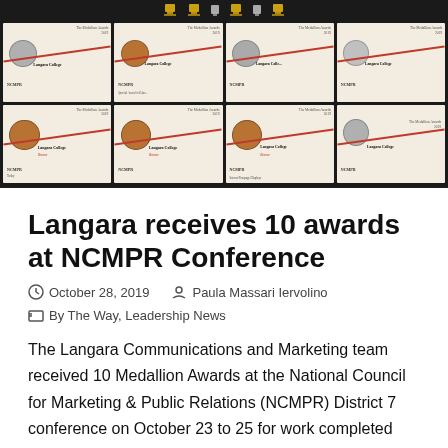[Figure (photo): Photo of Medallion Award certificates laid out on a dark surface with gold and silver trophies/awards at the top. Each certificate shows the Langara College name, NCMPR logo, and a bronze or silver medallion seal with a red diagonal line.]
Langara receives 10 awards at NCMPR Conference
October 28, 2019   Paula Massari Iervolino
By The Way, Leadership News
The Langara Communications and Marketing team received 10 Medallion Awards at the National Council for Marketing & Public Relations (NCMPR) District 7 conference on October 23 to 25 for work completed over 2018-19. The Medallion Awards recognize outstanding achievement in communications at